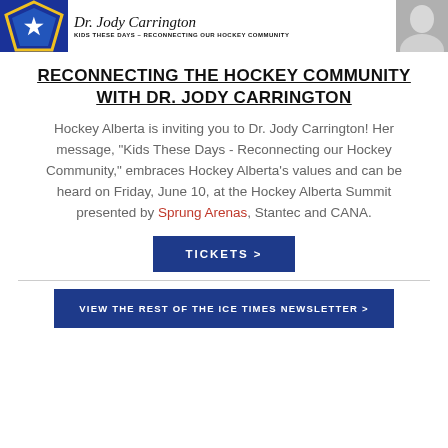[Figure (photo): Banner image showing Hockey Alberta star logo on left, Dr. Jody Carrington script name in center, subtitle 'KIDS THESE DAYS – RECONNECTING OUR HOCKEY COMMUNITY', and a photo of Dr. Jody Carrington on the right]
RECONNECTING THE HOCKEY COMMUNITY WITH DR. JODY CARRINGTON
Hockey Alberta is inviting you to Dr. Jody Carrington! Her message, “Kids These Days - Reconnecting our Hockey Community,” embraces Hockey Alberta’s values and can be heard on Friday, June 10, at the Hockey Alberta Summit presented by Sprung Arenas, Stantec and CANA.
TICKETS >
VIEW THE REST OF THE ICE TIMES NEWSLETTER >